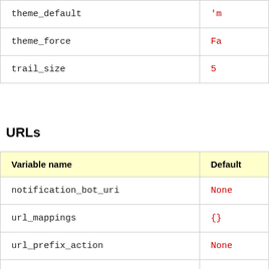| Variable name | Default |
| --- | --- |
| theme_default | 'm... |
| theme_force | Fa... |
| trail_size | 5 |
URLs
| Variable name | Default |
| --- | --- |
| notification_bot_uri | None |
| url_mappings | {} |
| url_prefix_action | None |
| url_prefix_fckeditor | None |
| url_prefix_local | None |